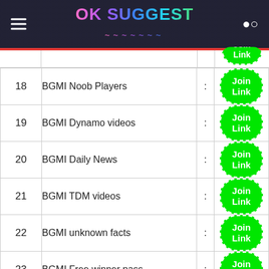OK SUGGEST
| # | Name | : | Link |
| --- | --- | --- | --- |
| 18 | BGMI Noob Players | : | Join Link |
| 19 | BGMI Dynamo videos | : | Join Link |
| 20 | BGMI Daily News | : | Join Link |
| 21 | BGMI TDM videos | : | Join Link |
| 22 | BGMI unknown facts | : | Join Link |
| 23 | BGMI Free winner pass | : | Join Link |
| 24 | BGMI New Winner pass | : | Join Link |